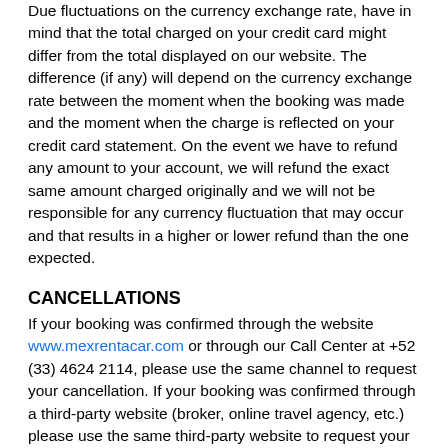Due fluctuations on the currency exchange rate, have in mind that the total charged on your credit card might differ from the total displayed on our website. The difference (if any) will depend on the currency exchange rate between the moment when the booking was made and the moment when the charge is reflected on your credit card statement. On the event we have to refund any amount to your account, we will refund the exact same amount charged originally and we will not be responsible for any currency fluctuation that may occur and that results in a higher or lower refund than the one expected.
CANCELLATIONS
If your booking was confirmed through the website www.mexrentacar.com or through our Call Center at +52 (33) 4624 2114, please use the same channel to request your cancellation. If your booking was confirmed through a third-party website (broker, online travel agency, etc.) please use the same third-party website to request your cancellation. Some third-party sites have cancellation fees if the booking is